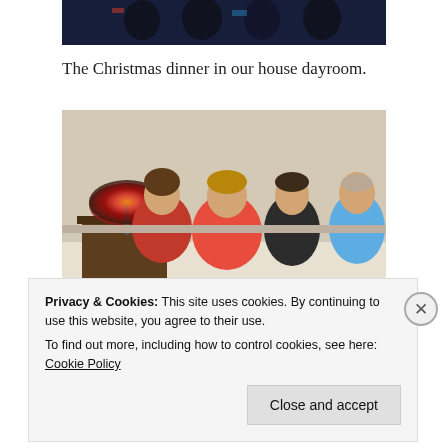[Figure (photo): Partial photo at top showing group of people in dark clothing against dark background]
The Christmas dinner in our house dayroom.
[Figure (photo): Family of four sitting on a couch — young man in red plaid, woman in red Christmas sweater, young woman in dark top, older man in light blue hoodie. A Tiffany-style lamp visible on the left side.]
Privacy & Cookies: This site uses cookies. By continuing to use this website, you agree to their use.
To find out more, including how to control cookies, see here: Cookie Policy
Close and accept